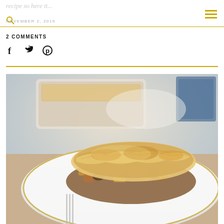recipe so here it...  NOVEMBER 2, 2019
2 COMMENTS
[Figure (illustration): Social media share icons: Facebook (f), Twitter (bird), Pinterest (P)]
[Figure (photo): Food photo showing a serving of chicken pot pie or similar savory pastry dish on a white plate with gold rim, with a baking dish in the blurred background]